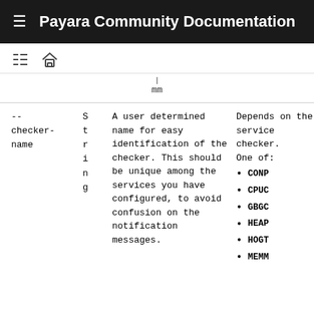Payara Community Documentation
mm
|  |  | Description | Default | Req |
| --- | --- | --- | --- | --- |
| --checker-name | String | A user determined name for easy identification of the checker. This should be unique among the services you have configured, to avoid confusion on the notification messages. | Depends on the service checker. One of: CONP, CPUC, GBGC, HEAP, HOGT, MEMM | no |